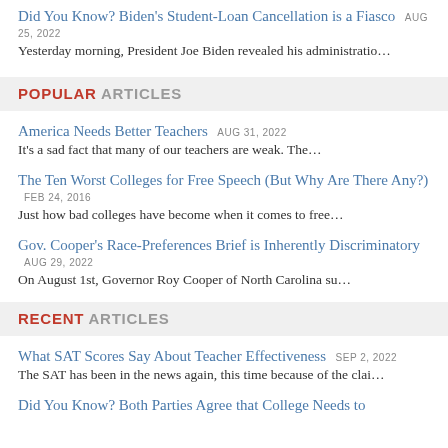Did You Know? Biden's Student-Loan Cancellation is a Fiasco AUG 25, 2022
Yesterday morning, President Joe Biden revealed his administratio…
POPULAR ARTICLES
America Needs Better Teachers AUG 31, 2022
It's a sad fact that many of our teachers are weak. The…
The Ten Worst Colleges for Free Speech (But Why Are There Any?) FEB 24, 2016
Just how bad colleges have become when it comes to free…
Gov. Cooper's Race-Preferences Brief is Inherently Discriminatory AUG 29, 2022
On August 1st, Governor Roy Cooper of North Carolina su…
RECENT ARTICLES
What SAT Scores Say About Teacher Effectiveness SEP 2, 2022
The SAT has been in the news again, this time because of the clai…
Did You Know? Both Parties Agree that College Needs to